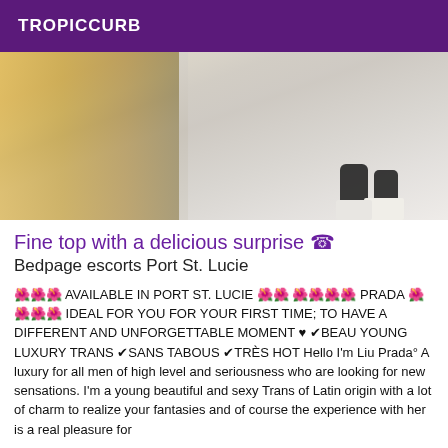TROPICCURB
[Figure (photo): Cropped photo showing lower body of a person wearing high heels against a light background with warm tones on the left side]
Fine top with a delicious surprise ☎
Bedpage escorts Port St. Lucie
🌺🌺🌺 AVAILABLE IN PORT ST. LUCIE 🌺🌺 🌺🌺🌺🌺 PRADA 🌺🌺🌺🌺 IDEAL FOR YOU FOR YOUR FIRST TIME; TO HAVE A DIFFERENT AND UNFORGETTABLE MOMENT ♥ ✔BEAU YOUNG LUXURY TRANS ✔SANS TABOUS ✔TRÈS HOT Hello I'm Liu Prada° A luxury for all men of high level and seriousness who are looking for new sensations. I'm a young beautiful and sexy Trans of Latin origin with a lot of charm to realize your fantasies and of course the experience with her is a real pleasure for